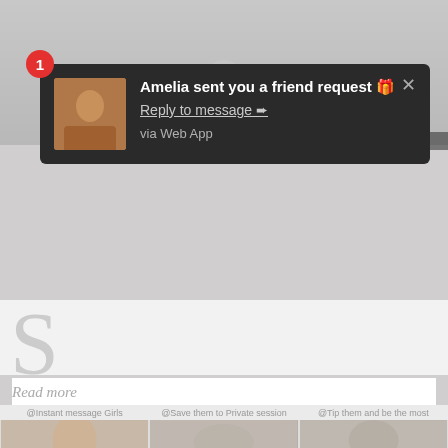[Figure (screenshot): Video player area with play button, blurred/grayed out background]
[Figure (screenshot): Dark notification popup overlay: number badge 1, avatar thumbnail, text 'Amelia sent you a friend request', 'Reply to message →', 'via Web App', close X button]
point of viewBy: #EvgenyiDemenev#girl #girls #women#psfb #pov #frombehind #rearview #fromabove #RSOPwhite#LoisLane
Read more
https://travelersfootnote.com/matures-babes/viewpost-id1019.php.
[Figure (screenshot): Three thumbnail images at bottom with labels: @Instant message Girls, @Save them to Private session, @Tip them and be the most]